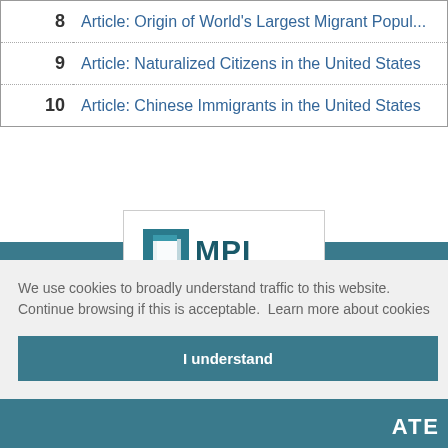8  Article: Origin of World's Largest Migrant Popul...
9  Article: Naturalized Citizens in the United States
10 Article: Chinese Immigrants in the United States
[Figure (logo): Migration Policy Institute (MPI) logo — teal square with stylized pages icon and MPI text, with 'MIGRATION POLICY INSTITUTE' below]
We use cookies to broadly understand traffic to this website. Continue browsing if this is acceptable.  Learn more about cookies
I understand
ATE